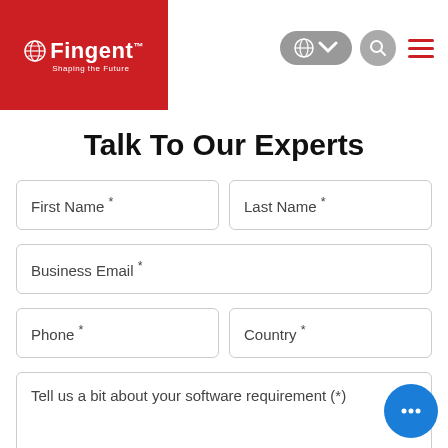Fingent - Shaping the Future
Talk To Our Experts
First Name *
Last Name *
Business Email *
Phone *
Country *
Tell us a bit about your software requirement (*)
[Figure (other): reCAPTCHA widget with checkbox 'I'm not a robot' and reCAPTCHA logo]